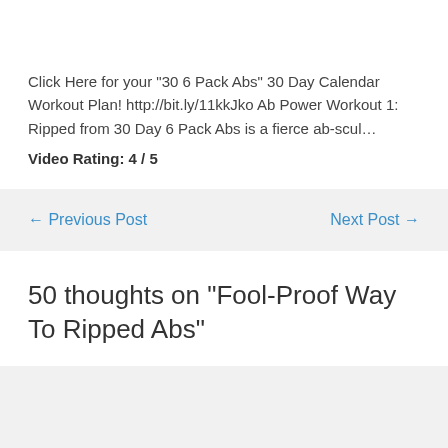Click Here for your "30 6 Pack Abs" 30 Day Calendar Workout Plan! http://bit.ly/11kkJko Ab Power Workout 1: Ripped from 30 Day 6 Pack Abs is a fierce ab-scul…
Video Rating: 4 / 5
← Previous Post
Next Post →
50 thoughts on “Fool-Proof Way To Ripped Abs”